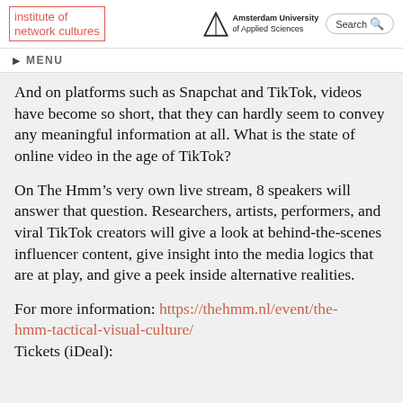Institute of Network Cultures | Amsterdam University of Applied Sciences | Search
MENU
And on platforms such as Snapchat and TikTok, videos have become so short, that they can hardly seem to convey any meaningful information at all. What is the state of online video in the age of TikTok?
On The Hmm’s very own live stream, 8 speakers will answer that question. Researchers, artists, performers, and viral TikTok creators will give a look at behind-the-scenes influencer content, give insight into the media logics that are at play, and give a peek inside alternative realities.
For more information: https://thehmm.nl/event/the-hmm-tactical-visual-culture/
Tickets (iDeal):